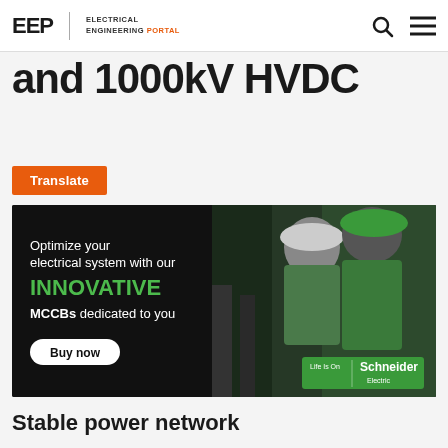EEP | ELECTRICAL ENGINEERING PORTAL
and 1000kV HVDC
Translate
[Figure (photo): Schneider Electric advertisement banner showing two workers in green hard hats and safety glasses examining equipment. Text reads: Optimize your electrical system with our INNOVATIVE MCCBs dedicated to you. Buy now. Life Is On | Schneider Electric.]
Stable power network
An attempt to have a more stable power network in order to meet the ever-increasing energy demand